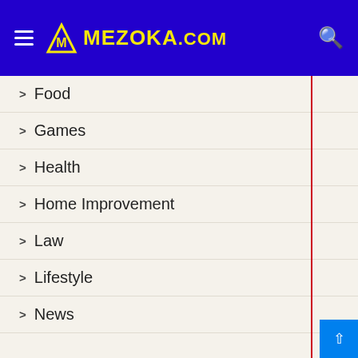MEZOKA.COM
Food
Games
Health
Home Improvement
Law
Lifestyle
News
Online Games
Real Estate
Social Media
Sports
Technology
Travel